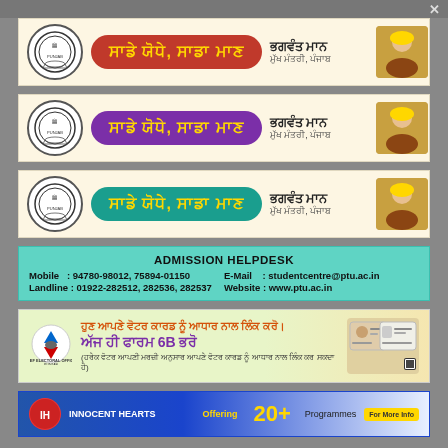[Figure (infographic): Government ad banner 1 with orange slogan box in Punjabi script, Punjab emblem logo, and photo of Bhagwant Maan, Chief Minister Punjab]
[Figure (infographic): Government ad banner 2 with purple slogan box in Punjabi script, Punjab emblem logo, and photo of Bhagwant Maan, Chief Minister Punjab]
[Figure (infographic): Government ad banner 3 with teal slogan box in Punjabi script, Punjab emblem logo, and photo of Bhagwant Maan, Chief Minister Punjab]
[Figure (infographic): Admission Helpdesk banner for PTU with teal background. Mobile: 94780-98012, 75894-01150. Landline: 01922-282512, 282536, 282537. E-Mail: studentcentre@ptu.ac.in. Website: www.ptu.ac.in]
[Figure (infographic): Chief Electoral Officer Punjab voter card linking campaign banner in Punjabi script. Form 6B. Text about linking voter card with Aadhaar.]
[Figure (infographic): Innocent Hearts partial banner with 20+ Programmes text and yellow highlight]